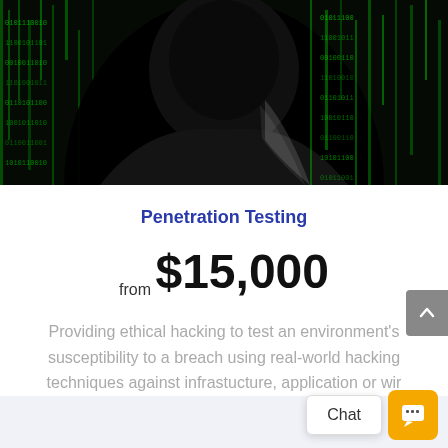[Figure (photo): Dark hooded hacker figure silhouette against green matrix binary code background]
Penetration Testing
from $15,000
Providing ethical hacking to test an environment's susceptibility to a breach using real-world hacking techniques against infrastucture, application or wir...